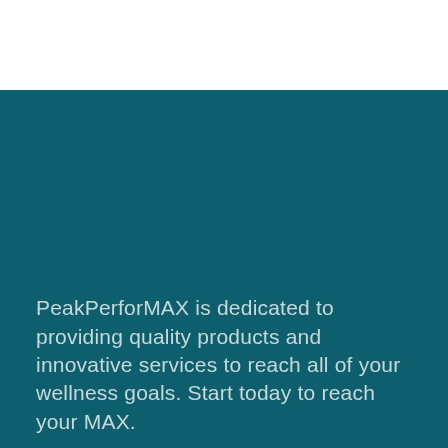[Figure (photo): White top section and teal/dark cyan background covering the majority of the page]
PeakPerforMAX is dedicated to providing quality products and innovative services to reach all of your wellness goals. Start today to reach your MAX.